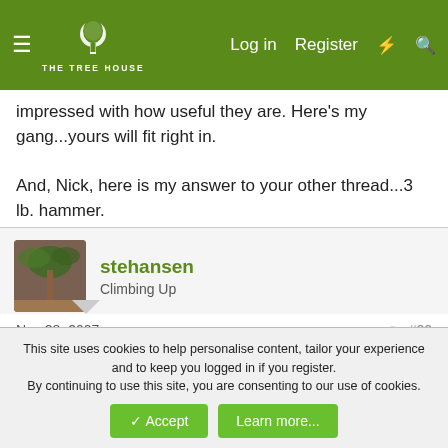THE TREE HOUSE — Log in | Register
impressed with how useful they are. Here's my gang...yours will fit right in.
And, Nick, here is my answer to your other thread...3 lb. hammer.
stehansen
Climbing Up
Nov 28, 2007  #22
Count me in Burnham.
Tom_Scheller
This site uses cookies to help personalise content, tailor your experience and to keep you logged in if you register.
By continuing to use this site, you are consenting to our use of cookies.